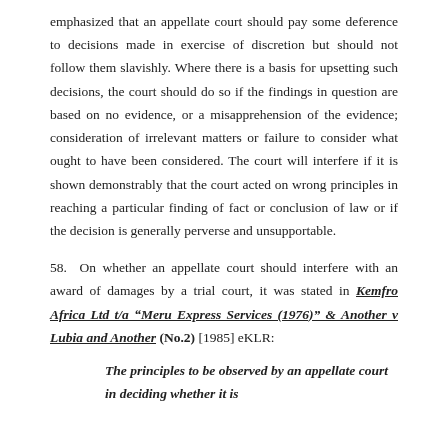emphasized that an appellate court should pay some deference to decisions made in exercise of discretion but should not follow them slavishly. Where there is a basis for upsetting such decisions, the court should do so if the findings in question are based on no evidence, or a misapprehension of the evidence; consideration of irrelevant matters or failure to consider what ought to have been considered. The court will interfere if it is shown demonstrably that the court acted on wrong principles in reaching a particular finding of fact or conclusion of law or if the decision is generally perverse and unsupportable.
58.  On whether an appellate court should interfere with an award of damages by a trial court, it was stated in Kemfro Africa Ltd t/a "Meru Express Services (1976)" & Another v Lubia and Another (No.2) [1985] eKLR:
The principles to be observed by an appellate court in deciding whether it is